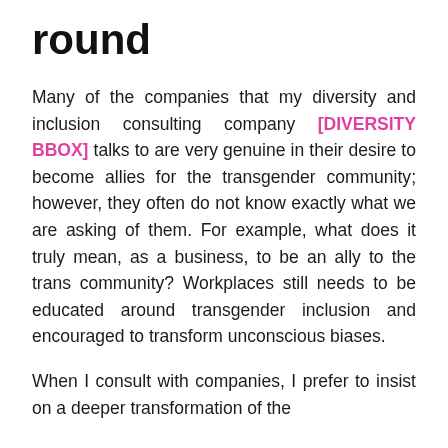round
Many of the companies that my diversity and inclusion consulting company [DIVERSITY BBOX] talks to are very genuine in their desire to become allies for the transgender community; however, they often do not know exactly what we are asking of them. For example, what does it truly mean, as a business, to be an ally to the trans community? Workplaces still needs to be educated around transgender inclusion and encouraged to transform unconscious biases.
When I consult with companies, I prefer to insist on a deeper transformation of the